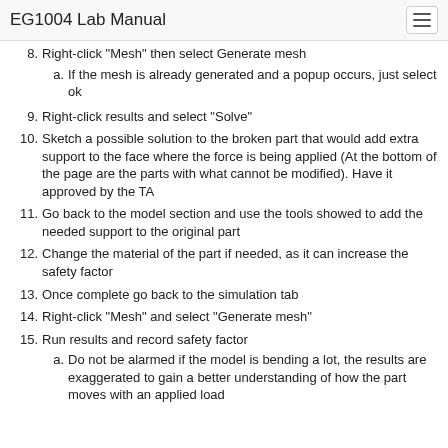EG1004 Lab Manual
8. Right-click "Mesh" then select Generate mesh
a. If the mesh is already generated and a popup occurs, just select ok
9. Right-click results and select "Solve"
10. Sketch a possible solution to the broken part that would add extra support to the face where the force is being applied (At the bottom of the page are the parts with what cannot be modified). Have it approved by the TA
11. Go back to the model section and use the tools showed to add the needed support to the original part
12. Change the material of the part if needed, as it can increase the safety factor
13. Once complete go back to the simulation tab
14. Right-click "Mesh" and select "Generate mesh"
15. Run results and record safety factor
a. Do not be alarmed if the model is bending a lot, the results are exaggerated to gain a better understanding of how the part moves with an applied load